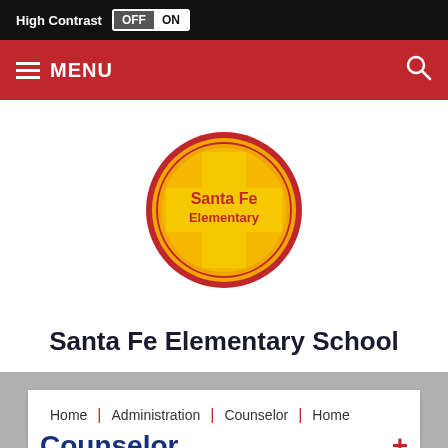High Contrast OFF ON
MENU
[Figure (logo): Santa Fe Elementary School circular logo: red circle outline with gold inner border, yellow cross shape in center, red text 'Santa Fe Elementary' in the center]
Santa Fe Elementary School
Home | Administration | Counselor | Home
Counselor